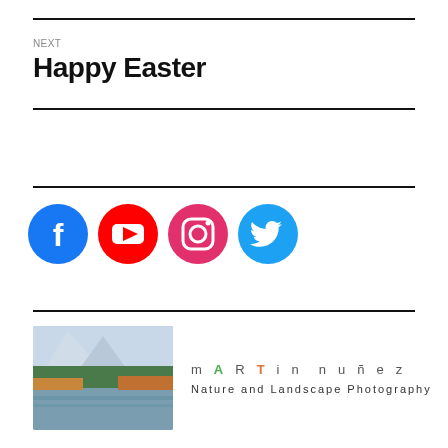NEXT
Happy Easter
[Figure (infographic): Four social media icons: Facebook (blue circle with f), YouTube (red circle with play button), Instagram (pink circle with camera), Twitter (light blue circle with bird)]
[Figure (photo): Nature and landscape photography logo with mountain lake photo on the left, and stylized text 'mARTin nuñez Nature and Landscape Photography' on the right]